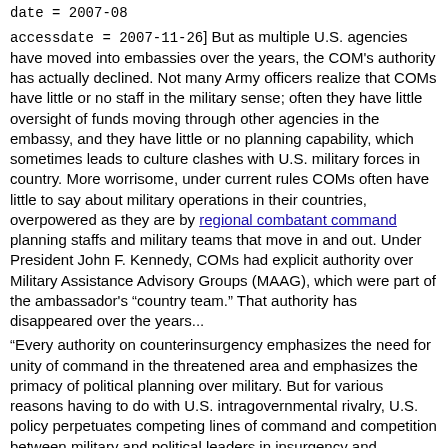date = 2007-08
accessdate = 2007-11-26] But as multiple U.S. agencies have moved into embassies over the years, the COM's authority has actually declined. Not many Army officers realize that COMs have little or no staff in the military sense; often they have little oversight of funds moving through other agencies in the embassy, and they have little or no planning capability, which sometimes leads to culture clashes with U.S. military forces in country. More worrisome, under current rules COMs often have little to say about military operations in their countries, overpowered as they are by regional combatant command planning staffs and military teams that move in and out. Under President John F. Kennedy, COMs had explicit authority over Military Assistance Advisory Groups (MAAG), which were part of the ambassador's "country team." That authority has disappeared over the years...
"Every authority on counterinsurgency emphasizes the need for unity of command in the threatened area and emphasizes the primacy of political planning over military. But for various reasons having to do with U.S. intragovernmental rivalry, U.S. policy perpetuates competing lines of command and competition between military and political leaders in insurgency and preinsurgency theaters."Killebrew] In Iraq, Multinational Force Iraq reports to